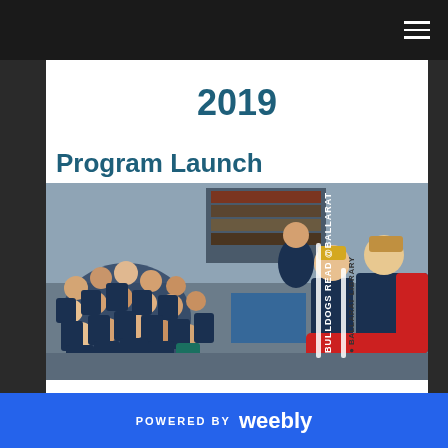Navigation bar with hamburger menu
2019
Program Launch
[Figure (photo): Children sitting on the floor in a library listening to two young men (athletes in team jackets) who are seated on chairs. A woman stands behind. Text overlaid reads 'BULLDOGS READ @BALLARAT' and 'BALLARAT LIBRARY'.]
POWERED BY weebly